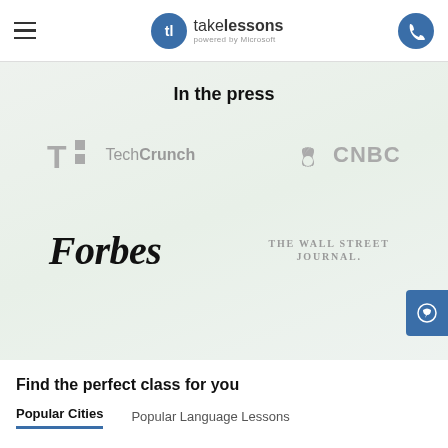takelessons powered by Microsoft
In the press
[Figure (logo): TechCrunch logo in gray]
[Figure (logo): CNBC logo with peacock icon in gray]
[Figure (logo): Forbes logo in black italic serif]
[Figure (logo): The Wall Street Journal logo in gray serif]
Find the perfect class for you
Popular Cities
Popular Language Lessons